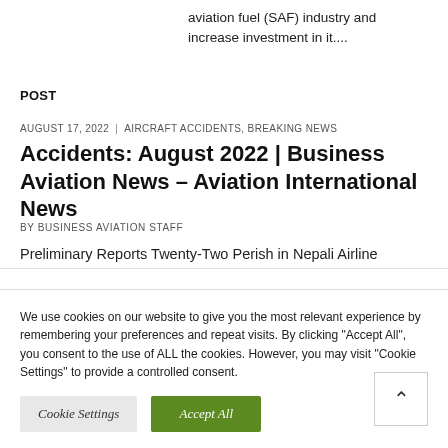aviation fuel (SAF) industry and increase investment in it....
POST
AUGUST 17, 2022  |  AIRCRAFT ACCIDENTS, BREAKING NEWS
Accidents: August 2022 | Business Aviation News – Aviation International News
BY BUSINESS AVIATION STAFF
Preliminary Reports Twenty-Two Perish in Nepali Airline
We use cookies on our website to give you the most relevant experience by remembering your preferences and repeat visits. By clicking "Accept All", you consent to the use of ALL the cookies. However, you may visit "Cookie Settings" to provide a controlled consent.